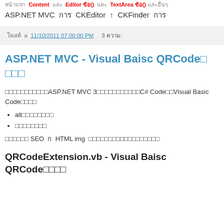หน้าแรก Content และ Editor ข้อ และ TextArea ข้อ และอื่นๆ
ASP.NET MVC การ CKEditor と CKFinder การ
โพสต์ a 11/10/2011 07:00:00 PM   3 ความ:
ASP.NET MVC - Visual Baisc QRCode การ การการ
บทความนี้จะแสดงถึงASP.NET MVC 3เหมือนกันทั้งหมดC# Codeการและ Visual Basic Codeการการ
altการการการการ
การการการการการ
การการการ SEO ก HTML img การการการการการการการการการการการ
QRCodeExtension.vb - Visual Baisc QRCode การการ